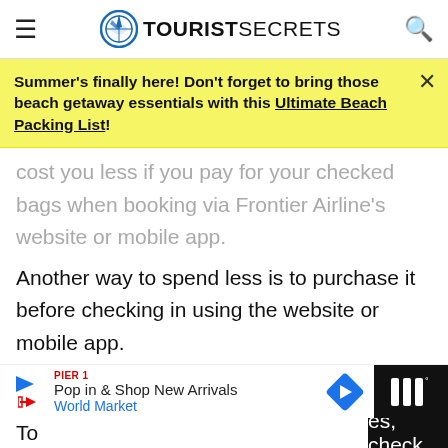TOURIST SECRETS
Summer's finally here! Don't forget to bring those beach getaway essentials with this Ultimate Beach Packing List!
cost you less if you pay for your checked bags when booking via Frontier Airline's website or mobile app. Another way to spend less is to purchase it before checking in using the website or mobile app. However, if you're paying for checked bags at the boarding gate, be prepared to pay a high price. Timing and location are key to saving money with checked baggage.
Pop in & Shop New Arrivals World Market
To es, check